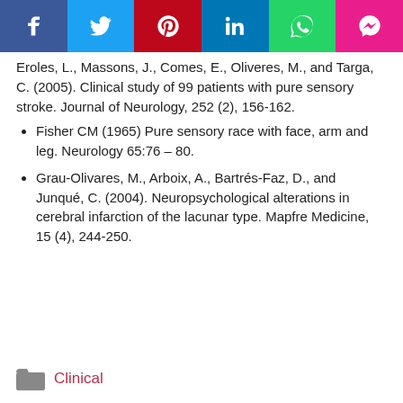[Figure (other): Social media sharing bar with Facebook, Twitter, Pinterest, LinkedIn, WhatsApp, and Messenger buttons]
Eroles, L., Massons, J., Comes, E., Oliveres, M., and Targa, C. (2005). Clinical study of 99 patients with pure sensory stroke. Journal of Neurology, 252 (2), 156-162.
Fisher CM (1965) Pure sensory race with face, arm and leg. Neurology 65:76 – 80.
Grau-Olivares, M., Arboix, A., Bartrés-Faz, D., and Junqué, C. (2004). Neuropsychological alterations in cerebral infarction of the lacunar type. Mapfre Medicine, 15 (4), 244-250.
Clinical